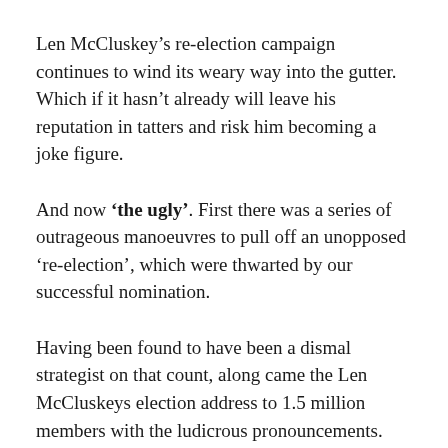Len McCluskey’s re-election campaign continues to wind its weary way into the gutter. Which if it hasn’t already will leave his reputation in tatters and risk him becoming a joke figure.
And now ‘the ugly’. First there was a series of outrageous manoeuvres to pull off an unopposed ‘re-election’, which were thwarted by our successful nomination.
Having been found to have been a dismal strategist on that count, along came the Len McCluskeys election address to 1.5 million members with the ludicrous pronouncements.
The truth is although this charade was supposed to be